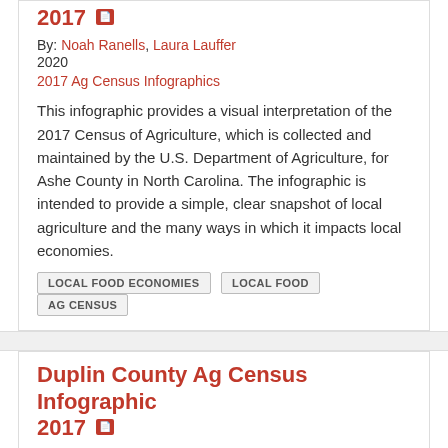2017
By: Noah Ranells, Laura Lauffer
2020
2017 Ag Census Infographics
This infographic provides a visual interpretation of the 2017 Census of Agriculture, which is collected and maintained by the U.S. Department of Agriculture, for Ashe County in North Carolina. The infographic is intended to provide a simple, clear snapshot of local agriculture and the many ways in which it impacts local economies.
LOCAL FOOD ECONOMIES
LOCAL FOOD
AG CENSUS
Duplin County Ag Census Infographic 2017
By: Noah Ranells, Laura Lauffer
2020
2017 Ag Census Infographics
This infographic provides a visual interpretation of the 2017 Census of Agriculture, which is collected and maintained